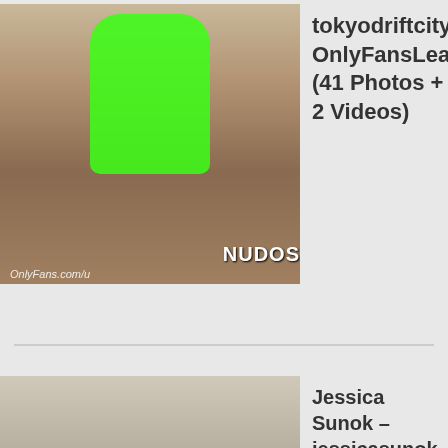[Figure (photo): Person in green neon bodysuit squatting, with NUDOS watermark and OnlyFans.com/u watermark at bottom]
tokyodriftcity OnlyFansLeaks (41 Photos + 2 Videos)
[Figure (photo): Person in bathtub scene, bottom portion of image visible]
Jessica Sunok – jessicasunok Onlyfans Leaks (45 Photos + 4